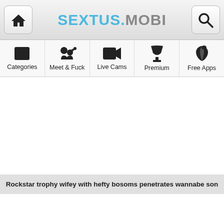SEXTUS.MOBI
Categories
Meet & Fuck
Live Cams
Premium
Free Apps
Rockstar trophy wifey with hefty bosoms penetrates wannabe son